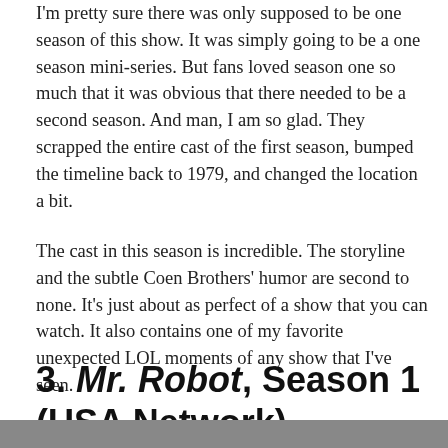I'm pretty sure there was only supposed to be one season of this show. It was simply going to be a one season mini-series. But fans loved season one so much that it was obvious that there needed to be a second season. And man, I am so glad. They scrapped the entire cast of the first season, bumped the timeline back to 1979, and changed the location a bit.
The cast in this season is incredible. The storyline and the subtle Coen Brothers' humor are second to none. It's just about as perfect of a show that you can watch. It also contains one of my favorite unexpected LOL moments of any show that I've seen.
3. Mr. Robot, Season 1 (USA Network)
[Figure (photo): Partial image cropped at bottom of page, showing a person's face]